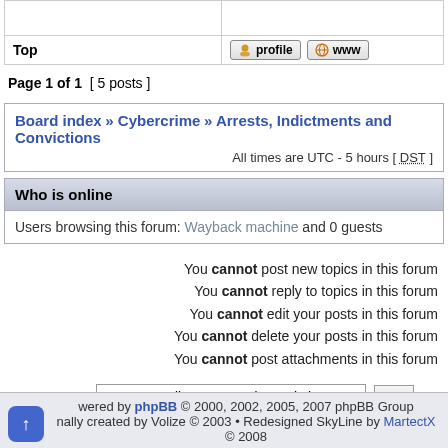|  |  |
| --- | --- |
| Top | profile  www |
Page 1 of 1  [ 5 posts ]
Board index » Cybercrime » Arrests, Indictments and Convictions
All times are UTC - 5 hours [ DST ]
Who is online
Users browsing this forum: Wayback machine and 0 guests
You cannot post new topics in this forum
You cannot reply to topics in this forum
You cannot edit your posts in this forum
You cannot delete your posts in this forum
You cannot post attachments in this forum
Jump to:  Arrests, Indictments and Convictions  Go
Powered by phpBB © 2000, 2002, 2005, 2007 phpBB Group
Style originally created by Volize © 2003 • Redesigned SkyLine by MartectX
© 2008